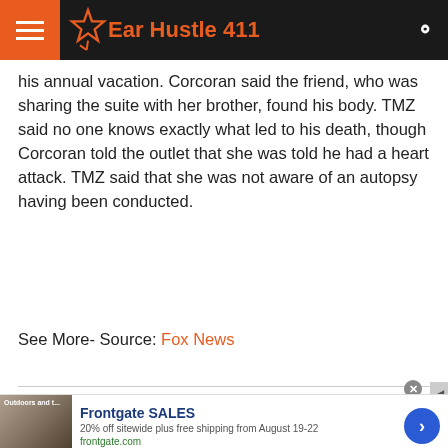Ear Hustle 411
his annual vacation. Corcoran said the friend, who was sharing the suite with her brother, found his body. TMZ said no one knows exactly what led to his death, though Corcoran told the outlet that she was told he had a heart attack. TMZ said that she was not aware of an autopsy having been conducted.
See More- Source: Fox News
[Figure (other): Advertisement for Frontgate SALES: 20% off sitewide plus free shipping from August 19-22. frontgate.com]